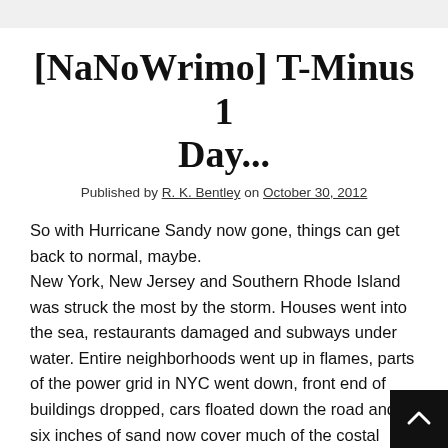[NaNoWrimo] T-Minus 1 Day...
Published by R. K. Bentley on October 30, 2012
So with Hurricane Sandy now gone, things can get back to normal, maybe.
New York, New Jersey and Southern Rhode Island was struck the most by the storm. Houses went into the sea, restaurants damaged and subways under water. Entire neighborhoods went up in flames, parts of the power grid in NYC went down, front end of buildings dropped, cars floated down the road and six inches of sand now cover much of the costal roads in Jersey.
It was 2012 without Jack Gyllenhaal and the spaceships.